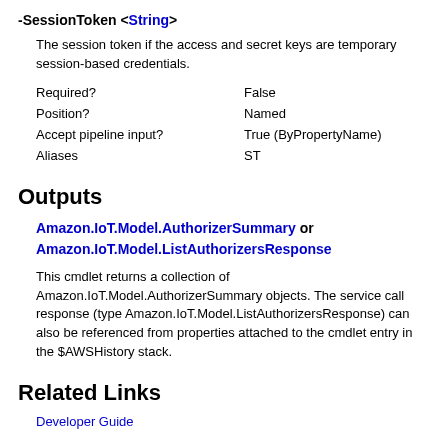-SessionToken <String>
The session token if the access and secret keys are temporary session-based credentials.
|  |  |
| --- | --- |
| Required? | False |
| Position? | Named |
| Accept pipeline input? | True (ByPropertyName) |
| Aliases | ST |
Outputs
Amazon.IoT.Model.AuthorizerSummary or Amazon.IoT.Model.ListAuthorizersResponse
This cmdlet returns a collection of Amazon.IoT.Model.AuthorizerSummary objects. The service call response (type Amazon.IoT.Model.ListAuthorizersResponse) can also be referenced from properties attached to the cmdlet entry in the $AWSHistory stack.
Related Links
Developer Guide